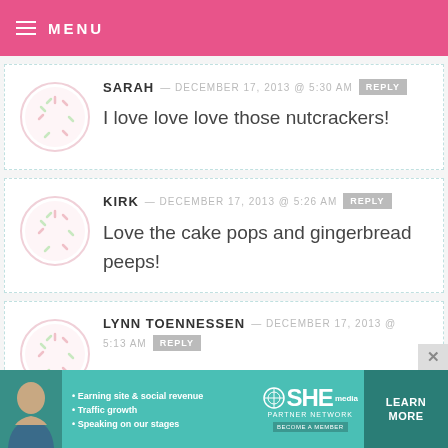MENU
SARAH — DECEMBER 17, 2013 @ 5:30 AM REPLY
I love love love those nutcrackers!
KIRK — DECEMBER 17, 2013 @ 5:26 AM REPLY
Love the cake pops and gingerbread peeps!
LYNN TOENNESSEN — DECEMBER 17, 2013 @ 5:13 AM REPLY
[Figure (infographic): SHE Partner Network advertisement banner with photo of woman, bullet points about earning site & social revenue, traffic growth, speaking on our stages, SHE logo, LEARN MORE button]